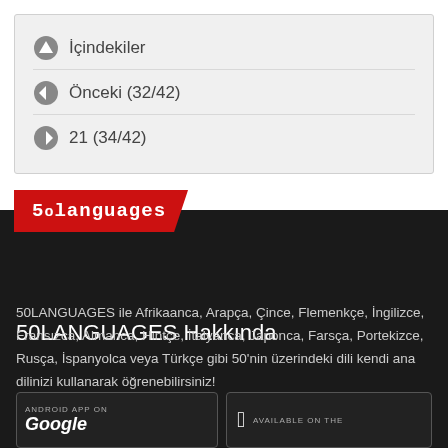İçindekiler
Önceki (32/42)
21 (34/42)
[Figure (logo): 50LANGUAGES red badge logo]
50LANGUAGES Hakkında
50LANGUAGES ile Afrikaanca, Arapça, Çince, Flemenkçe, İngilizce, Fransızca, Almanca, Hintçe, İtalyanca, Japonca, Farsça, Portekizce, Rusça, İspanyolca veya Türkçe gibi 50'nin üzerindeki dili kendi ana dilinizi kullanarak öğrenebilirsiniz!
[Figure (screenshot): Android App on Google Play button]
[Figure (screenshot): Available on the App Store button]